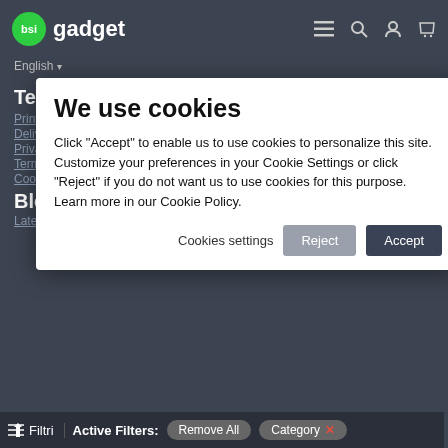bsi gadget — English
Terms of sale
Print Information
Delivery
Privacy Policy
Terms & Conditions
Cookie Policy
[Figure (screenshot): Cookie consent modal dialog with title 'We use cookies', body text explaining cookie usage with Accept/Reject buttons and Cookies settings link]
Blog
Latest Blog Articles
Payment methods
[Figure (illustration): Payment method logos: Bank Transfer, PayPal, Visa, American Express, Discover, Mastercard, and another card]
Copyright © 2019, Bsi Gadget, All Rights Reserved
Filtri | Active Filters: Remove All | Category ×